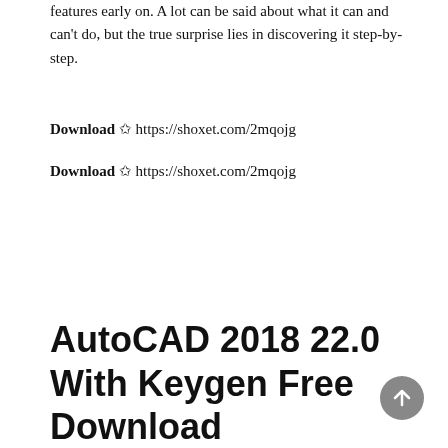features early on. A lot can be said about what it can and can't do, but the true surprise lies in discovering it step-by-step.
Download ✩ https://shoxet.com/2mqojg
Download ✩ https://shoxet.com/2mqojg
AutoCAD 2018 22.0 With Keygen Free Download